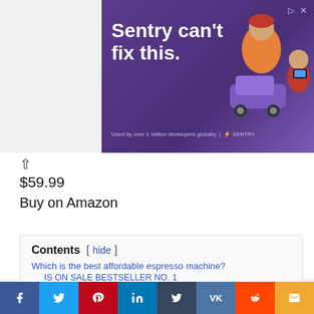[Figure (screenshot): Advertisement banner: purple background with white bold text 'Sentry can't fix this.' and illustrated figures on right, Sentry logo branding at bottom]
$59.99
Buy on Amazon
Contents [ hide ]
Which is the best affordable espresso machine?
IS ON SALE BESTSELLER NO. 1
IS ON SALE BESTSELLER NO. 2
BESTSELLER NO. 3
BEST CHEAP ESPRESSO MACHINES
7. Klarstein BellaVita Espresso
6.Nespresso Essenza Mini Original Espresso Machine
5.Nespresso Inissia: best cheap capsule coffee maker
4. Imusa Black Espresso Maker